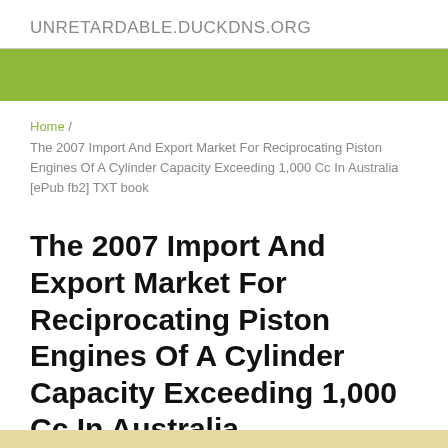UNRETARDABLE.DUCKDNS.ORG
[Figure (other): Green banner bar across full width]
Home / The 2007 Import And Export Market For Reciprocating Piston Engines Of A Cylinder Capacity Exceeding 1,000 Cc In Australia [ePub fb2] TXT book
The 2007 Import And Export Market For Reciprocating Piston Engines Of A Cylinder Capacity Exceeding 1,000 Cc In Australia